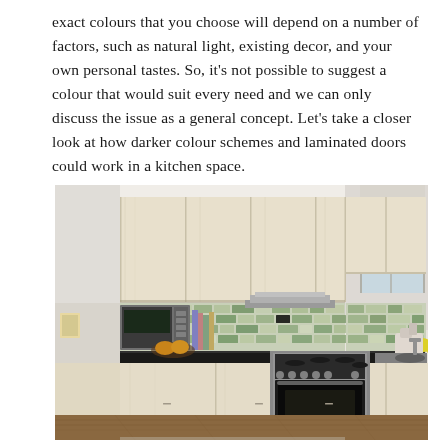exact colours that you choose will depend on a number of factors, such as natural light, existing decor, and your own personal tastes. So, it's not possible to suggest a colour that would suit every need and we can only discuss the issue as a general concept. Let's take a closer look at how darker colour schemes and laminated doors could work in a kitchen space.
[Figure (photo): A modern kitchen with light wood laminated cabinet doors, black countertops, stainless steel appliances including a gas range and microwave, a green mosaic tile backsplash, and a window on the right side. Various kitchen items are on the countertop including yellow fruits, canisters, and a mixer.]